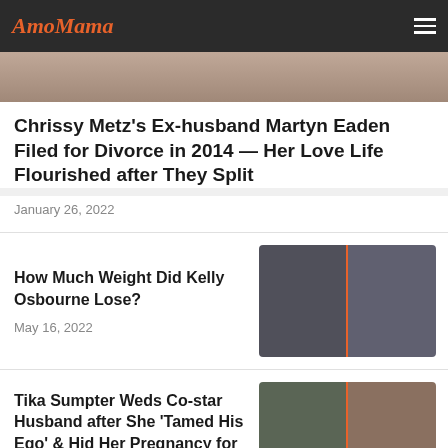AmoMama
[Figure (photo): Partial photo strip at top of page]
Chrissy Metz's Ex-husband Martyn Eaden Filed for Divorce in 2014 — Her Love Life Flourished after They Split
January 26, 2022
How Much Weight Did Kelly Osbourne Lose?
May 16, 2022
[Figure (photo): Before and after photos of Kelly Osbourne side by side]
Tika Sumpter Weds Co-star Husband after She 'Tamed His Ego' & Hid Her Pregnancy for 7 Months
[Figure (photo): Two photos of Tika Sumpter and co-star husband side by side]